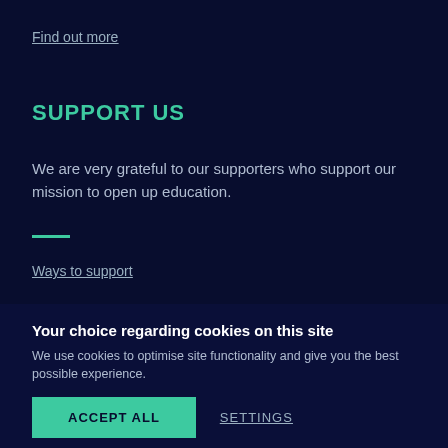Find out more
SUPPORT US
We are very grateful to our supporters who support our mission to open up education.
Ways to support
Your choice regarding cookies on this site
We use cookies to optimise site functionality and give you the best possible experience.
ACCEPT ALL
SETTINGS